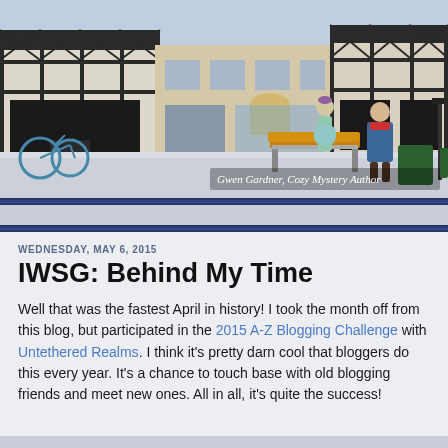[Figure (illustration): A winter street scene illustration showing tudor-style and brick buildings with snow on the ground. Two women in period clothing walk along the sidewalk. A wooden bench is visible. Text reads 'Gwen Gardner, Cozy Mystery Author' in the lower right.]
WEDNESDAY, MAY 6, 2015
IWSG: Behind My Time
Well that was the fastest April in history! I took the month off from this blog, but participated in the 2015 A-Z Blogging Challenge with Untethered Realms. I think it's pretty darn cool that bloggers do this every year. It's a chance to touch base with old blogging friends and meet new ones. All in all, it's quite the success!